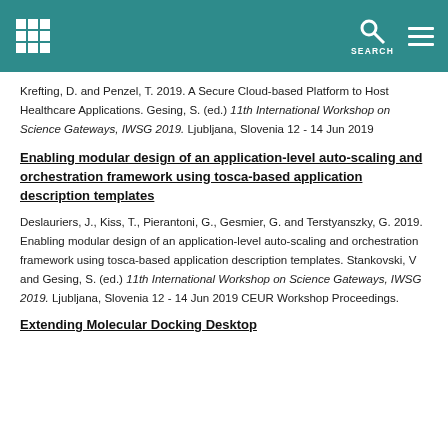SEARCH
Krefting, D. and Penzel, T. 2019. A Secure Cloud-based Platform to Host Healthcare Applications. Gesing, S. (ed.) 11th International Workshop on Science Gateways, IWSG 2019. Ljubljana, Slovenia 12 - 14 Jun 2019
Enabling modular design of an application-level auto-scaling and orchestration framework using tosca-based application description templates
Deslauriers, J., Kiss, T., Pierantoni, G., Gesmier, G. and Terstyanszky, G. 2019. Enabling modular design of an application-level auto-scaling and orchestration framework using tosca-based application description templates. Stankovski, V and Gesing, S. (ed.) 11th International Workshop on Science Gateways, IWSG 2019. Ljubljana, Slovenia 12 - 14 Jun 2019 CEUR Workshop Proceedings.
Extending Molecular Docking Desktop